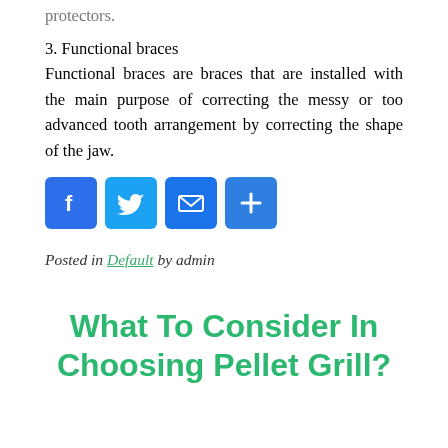protectors.
3. Functional braces
Functional braces are braces that are installed with the main purpose of correcting the messy or too advanced tooth arrangement by correcting the shape of the jaw.
[Figure (other): Social sharing icons: Facebook (blue), Twitter (light blue), Email (blue), Share/Plus (blue)]
Posted in Default by admin
What To Consider In Choosing Pellet Grill?